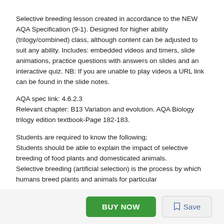Selective breeding lesson created in accordance to the NEW AQA Specification (9-1). Designed for higher ability (trilogy/combined) class, although content can be adjusted to suit any ability. Includes: embedded videos and timers, slide animations, practice questions with answers on slides and an interactive quiz. NB: If you are unable to play videos a URL link can be found in the slide notes.
AQA spec link: 4.6.2.3
Relevant chapter: B13 Variation and evolution. AQA Biology trilogy edition textbook-Page 182-183.
Students are required to know the following;
Students should be able to explain the impact of selective breeding of food plants and domesticated animals.
Selective breeding (artificial selection) is the process by which humans breed plants and animals for particular